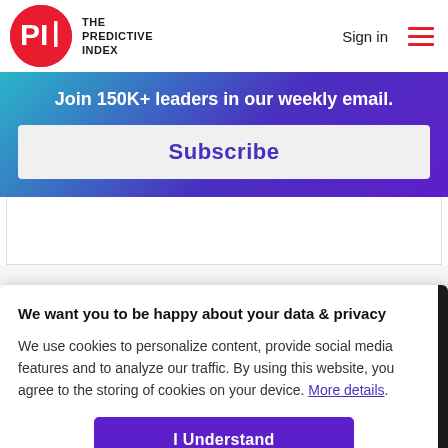[Figure (logo): The Predictive Index logo: red circle with PI text and white wordmark 'THE PREDICTIVE INDEX']
Sign in
[Figure (other): Hamburger menu icon with three red horizontal lines]
Join 150K+ leaders in our weekly email.
Subscribe
We want you to be happy about your data & privacy
We use cookies to personalize content, provide social media features and to analyze our traffic. By using this website, you agree to the storing of cookies on your device. More details.
I Understand